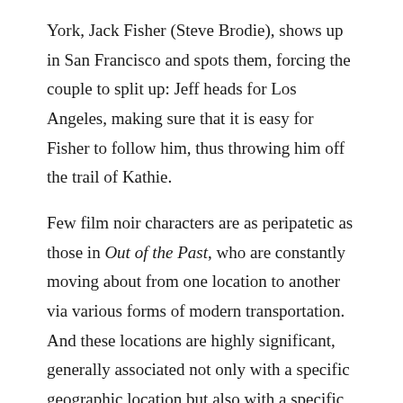York, Jack Fisher (Steve Brodie), shows up in San Francisco and spots them, forcing the couple to split up: Jeff heads for Los Angeles, making sure that it is easy for Fisher to follow him, thus throwing him off the trail of Kathie.
Few film noir characters are as peripatetic as those in Out of the Past, who are constantly moving about from one location to another via various forms of modern transportation. And these locations are highly significant, generally associated not only with a specific geographic location but also with a specific sense of time. In one of the most spirited attempts to characterize film noir as a phenomenon, Vivian Sobchack argues that film noir can be seen to respond to the crisis of the wartime and the flux of the postwar years through an